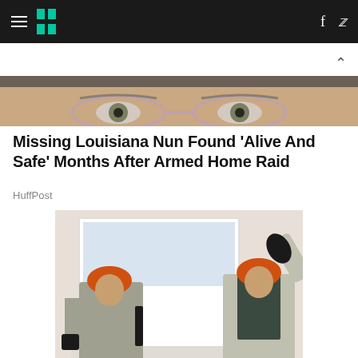HuffPost navigation with hamburger menu, logo, Facebook and Twitter icons
[Figure (photo): Close-up cropped photo showing eyes of a person wearing glasses, likely an older woman]
Missing Louisiana Nun Found 'Alive And Safe' Months After Armed Home Raid
HuffPost
[Figure (photo): Two workers in orange hard hats and gray work uniforms installing a white window frame]
Search for window replacements
Yahoo Search